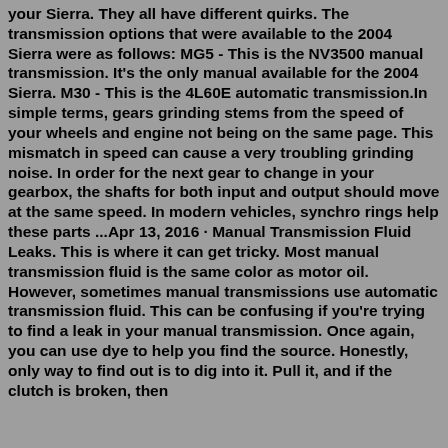your Sierra. They all have different quirks. The transmission options that were available to the 2004 Sierra were as follows: MG5 - This is the NV3500 manual transmission. It's the only manual available for the 2004 Sierra. M30 - This is the 4L60E automatic transmission.In simple terms, gears grinding stems from the speed of your wheels and engine not being on the same page. This mismatch in speed can cause a very troubling grinding noise. In order for the next gear to change in your gearbox, the shafts for both input and output should move at the same speed. In modern vehicles, synchro rings help these parts ...Apr 13, 2016 · Manual Transmission Fluid Leaks. This is where it can get tricky. Most manual transmission fluid is the same color as motor oil. However, sometimes manual transmissions use automatic transmission fluid. This can be confusing if you're trying to find a leak in your manual transmission. Once again, you can use dye to help you find the source. Honestly, only way to find out is to dig into it. Pull it, and if the clutch is broken, then